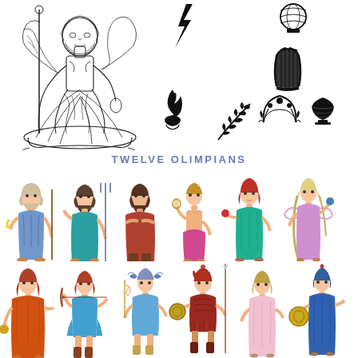[Figure (illustration): Top section collage: left side shows a detailed black-and-white line-art illustration of a classical Greek/Roman deity figure (Zeus or Poseidon) standing on a shell with flowing robes, holding a staff. Right side shows black silhouette symbols: lightning bolt, decorative orb, lyre/harp, flame in bowl, olive branch, crown/laurel wreath, and a dark bowl.]
TWELVE OLIMPIANS
[Figure (illustration): First row of six colorful cartoon Greek Olympian gods (flat style): Zeus (blue robes, lightning bolt), Poseidon (teal robes, trident), Hephaestus (red/brown), Apollo (pink skirt, lyre), Aphrodite (teal gown, red hair), and a goddess in purple/lavender with a staff.]
[Figure (illustration): Second row of six colorful cartoon Greek Olympian gods (flat style): Demeter (orange/red dress, fruit), Artemis (blue dress, bow and arrow), Hermes (blue outfit, caduceus, winged helmet), Ares (red armor, shield and spear), a goddess in pink/white (Hestia or Persephone), and Athena (blue dress, shield/medallion).]